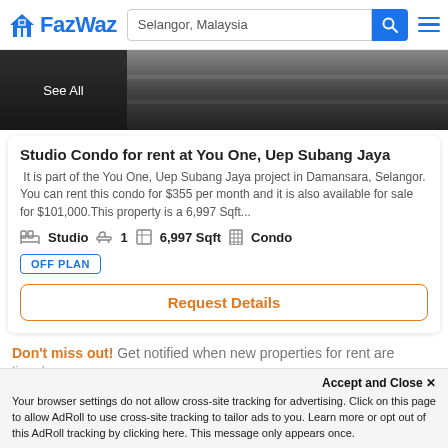FazWaz — Selangor, Malaysia search bar
[Figure (screenshot): Property photo strip with dark overlay showing 'See All' text thumbnail on the left]
Studio Condo for rent at You One, Uep Subang Jaya
It is part of the You One, Uep Subang Jaya project in Damansara, Selangor. You can rent this condo for $355 per month and it is also available for sale for $101,000.This property is a 6,997 Sqft...
Studio  1  6,997 Sqft  Condo
OFF PLAN
Request Details
Don't miss out! Get notified when new properties for rent are listed...
Accept and Close ✕
Your browser settings do not allow cross-site tracking for advertising. Click on this page to allow AdRoll to use cross-site tracking to tailor ads to you. Learn more or opt out of this AdRoll tracking by clicking here. This message only appears once.